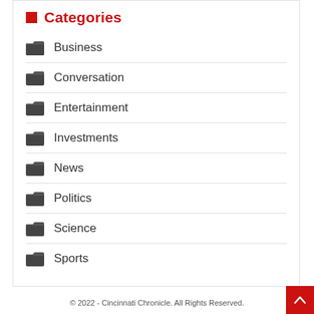Categories
Business
Conversation
Entertainment
Investments
News
Politics
Science
Sports
© 2022 - Cincinnati Chronicle. All Rights Reserved.